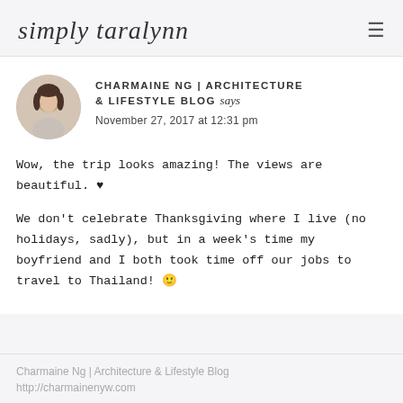simply taralynn
CHARMAINE NG | ARCHITECTURE & LIFESTYLE BLOG says
November 27, 2017 at 12:31 pm
Wow, the trip looks amazing! The views are beautiful. ♥
We don't celebrate Thanksgiving where I live (no holidays, sadly), but in a week's time my boyfriend and I both took time off our jobs to travel to Thailand! 🙂
Charmaine Ng | Architecture & Lifestyle Blog
http://charmainenyw.com